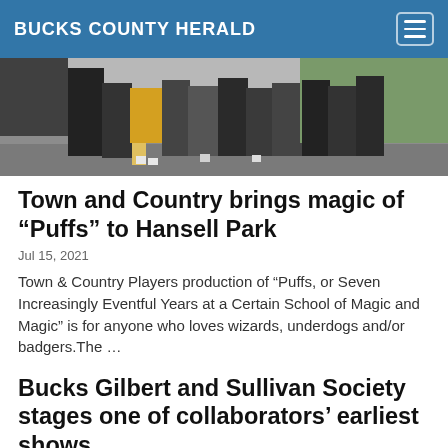BUCKS COUNTY HERALD
[Figure (photo): A group of people (cast members) standing outdoors on a gravel/dirt surface, photographed from below the waist showing their legs and feet, with greenery in the background.]
Town and Country brings magic of “Puffs” to Hansell Park
Jul 15, 2021
Town & Country Players production of “Puffs, or Seven Increasingly Eventful Years at a Certain School of Magic and Magic” is for anyone who loves wizards, underdogs and/or badgers.The …
Bucks Gilbert and Sullivan Society stages one of collaborators’ earliest shows
Jean Brenner | Jul 15, 2021
Listen up, Gilbert & Sullivan operetta lovers. Get